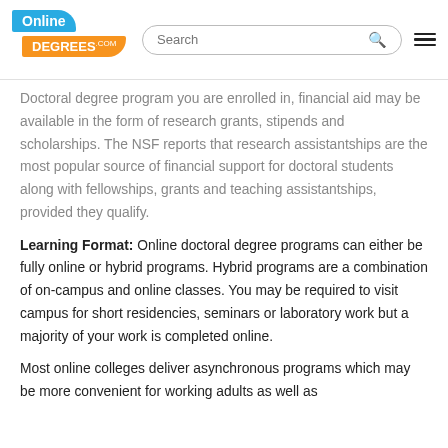OnlineDegrees.com | Search | Menu
Doctoral degree program you are enrolled in, financial aid may be available in the form of research grants, stipends and scholarships. The NSF reports that research assistantships are the most popular source of financial support for doctoral students along with fellowships, grants and teaching assistantships, provided they qualify.
Learning Format: Online doctoral degree programs can either be fully online or hybrid programs. Hybrid programs are a combination of on-campus and online classes. You may be required to visit campus for short residencies, seminars or laboratory work but a majority of your work is completed online.
Most online colleges deliver asynchronous programs which may be more convenient for working adults as well as